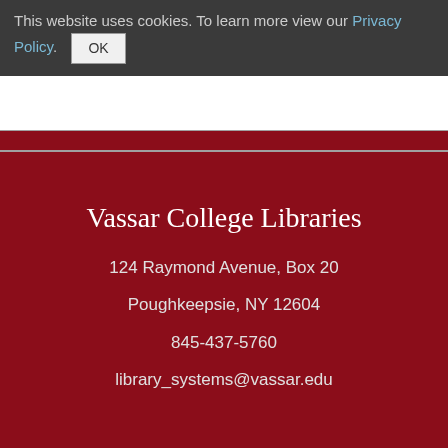This website uses cookies. To learn more view our Privacy Policy. OK
Vassar College Libraries
124 Raymond Avenue, Box 20
Poughkeepsie, NY 12604
845-437-5760
library_systems@vassar.edu